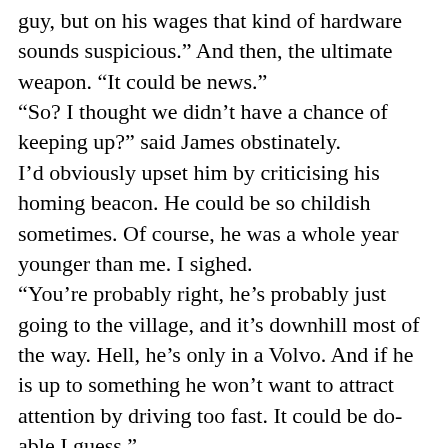guy, but on his wages that kind of hardware sounds suspicious.” And then, the ultimate weapon. “It could be news.” “So? I thought we didn’t have a chance of keeping up?” said James obstinately. I’d obviously upset him by criticising his homing beacon. He could be so childish sometimes. Of course, he was a whole year younger than me. I sighed. “You’re probably right, he’s probably just going to the village, and it’s downhill most of the way. Hell, he’s only in a Volvo. And if he is up to something he won’t want to attract attention by driving too fast. It could be do-able I guess.” James looked at me curiously. “Do I detect optimism? This is the most enthusiastic I’ve seen you since... well, you know.” “Since David died? I know. But hey, since we got him back I feel a whole lot better about things. It’s not often that you get told by a suicide victim that it’s not your fault. Not the ones who are any good at it, at any rate.”